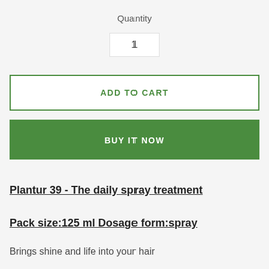Quantity
1
ADD TO CART
BUY IT NOW
Plantur 39 - The daily spray treatment
Pack size:125 ml Dosage form:spray
Brings shine and life into your hair